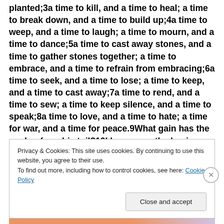planted;3a time to kill, and a time to heal; a time to break down, and a time to build up;4a time to weep, and a time to laugh; a time to mourn, and a time to dance;5a time to cast away stones, and a time to gather stones together; a time to embrace, and a time to refrain from embracing;6a time to seek, and a time to lose; a time to keep, and a time to cast away;7a time to rend, and a time to sew; a time to keep silence, and a time to speak;8a time to love, and a time to hate; a time for war, and a time for peace.9What gain has the worker from his toil?10I have seen the business
Privacy & Cookies: This site uses cookies. By continuing to use this website, you agree to their use.
To find out more, including how to control cookies, see here: Cookie Policy